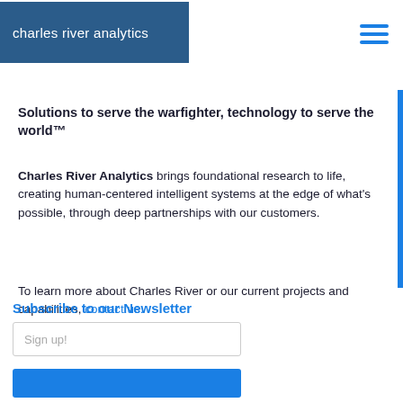charles river analytics
Solutions to serve the warfighter, technology to serve the world™
Charles River Analytics brings foundational research to life, creating human-centered intelligent systems at the edge of what's possible, through deep partnerships with our customers.
To learn more about Charles River or our current projects and capabilities, contact us.
Subscribe to our Newsletter
Sign up!